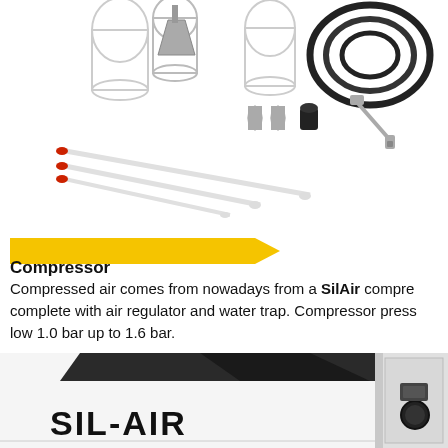[Figure (photo): Airbrush accessories and components laid out on white background: glass jars, metal funnel, hose, nozzle tips, caps, wrench, and airbrush tubes with red tips]
Compressor
Compressed air comes from nowadays from a SilAir compressor, complete with air regulator and water trap. Compressor pressure: low 1.0 bar up to 1.6 bar.
[Figure (photo): Close-up photo of a white SIL-AIR compressor unit showing the brand name SIL-AIR in large black letters on the white casing, with black control components visible on the right side]